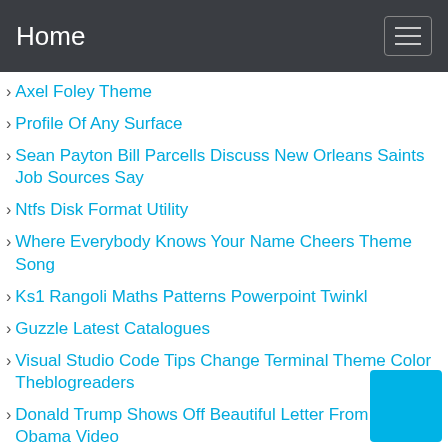Home
Axel Foley Theme
Profile Of Any Surface
Sean Payton Bill Parcells Discuss New Orleans Saints Job Sources Say
Ntfs Disk Format Utility
Where Everybody Knows Your Name Cheers Theme Song
Ks1 Rangoli Maths Patterns Powerpoint Twinkl
Guzzle Latest Catalogues
Visual Studio Code Tips Change Terminal Theme Color Theblogreaders
Donald Trump Shows Off Beautiful Letter From Barack Obama Video
Antonimos Anchor Chart